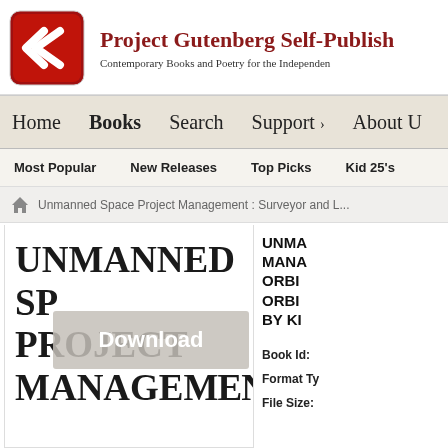[Figure (logo): Project Gutenberg Self-Publishing Press logo - red rounded square with white G chevron mark]
Project Gutenberg Self-Publish
Contemporary Books and Poetry for the Independen
Home   Books   Search   Support ›   About U
Most Popular   New Releases   Top Picks   Kid 25's
Unmanned Space Project Management : Surveyor and L...
UNMANNED SP... PROJECT MANAGEMENT
Download
UNMA MANA ORBI ORBI BY KI
Book Id:
Format Ty
File Size: